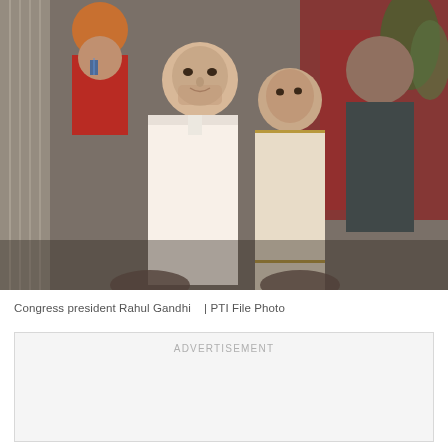[Figure (photo): Congress president Rahul Gandhi with Sonia Gandhi and other people in background at a political event. PTI File Photo.]
Congress president Rahul Gandhi   | PTI File Photo
ADVERTISEMENT